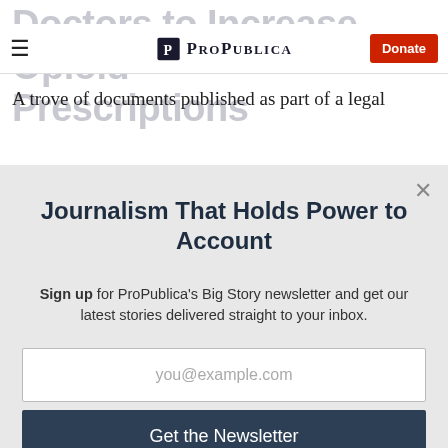Doctors to Increase Opioid Prescriptions
ProPublica — Donate
A trove of documents published as part of a legal
Journalism That Holds Power to Account
Sign up for ProPublica's Big Story newsletter and get our latest stories delivered straight to your inbox.
you@example.com
Get the Newsletter
No thanks, I'm all set
This site is protected by reCAPTCHA and the Google Privacy Policy and Terms of Service apply.